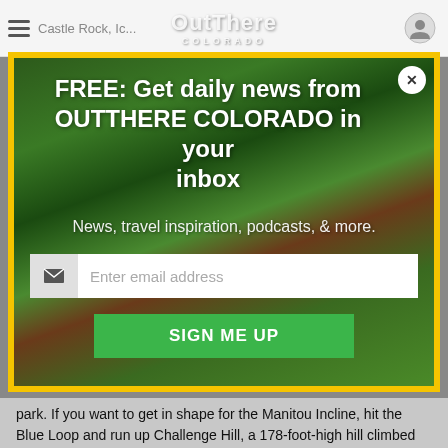Castle Rock, Ic... le Interstate
[Figure (screenshot): OutThere Colorado website header with hamburger menu, logo overlay, and profile icon]
FREE: Get daily news from OUTTHERE COLORADO in your inbox
News, travel inspiration, podcasts, & more.
Enter email address
SIGN ME UP
park. If you want to get in shape for the Manitou Incline, hit the Blue Loop and run up Challenge Hill, a 178-foot-high hill climbed by 200 steps. The park also has a